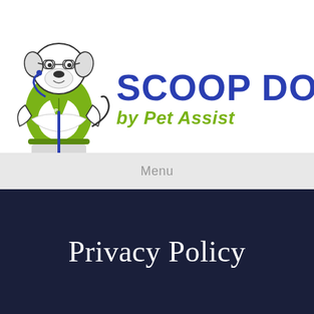[Figure (logo): Scoop Doctor by Pet Assist logo featuring an illustrated dog wearing glasses and a green scrubs outfit, holding a blue broom/rake, with bold blue text 'SCOOP DOCTOR' and green italic text 'by Pet Assist']
Menu
Privacy Policy